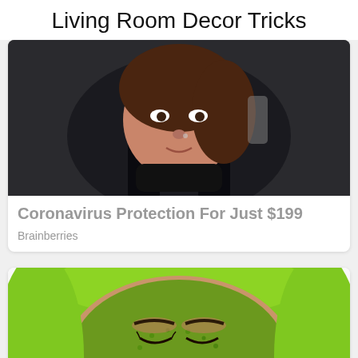Living Room Decor Tricks
[Figure (photo): Woman wearing a black neck brace/helmet, close-up face shot]
Coronavirus Protection For Just $199
Brainberries
[Figure (photo): Woman with a green face mask and green towel headband, eyes closed, top-down view]
X CLOSE